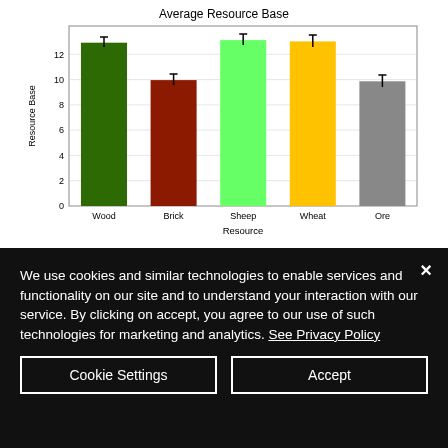[Figure (bar-chart): Average Resource Base]
We use cookies and similar technologies to enable services and functionality on our site and to understand your interaction with our service. By clicking on accept, you agree to our use of such technologies for marketing and analytics. See Privacy Policy